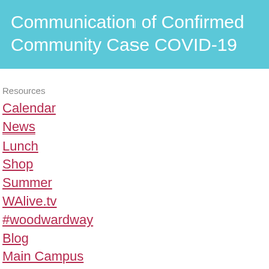Communication of Confirmed Community Case COVID-19
Resources
Calendar
News
Lunch
Shop
Summer
WAlive.tv
#woodwardway
Blog
Main Campus